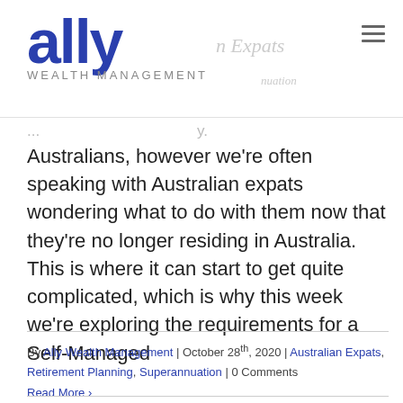ally WEALTH MANAGEMENT
Australians, however we're often speaking with Australian expats wondering what to do with them now that they're no longer residing in Australia. This is where it can start to get quite complicated, which is why this week we're exploring the requirements for a Self-Managed
By Ally Wealth Management | October 28th, 2020 | Australian Expats, Retirement Planning, Superannuation | 0 Comments
Read More >